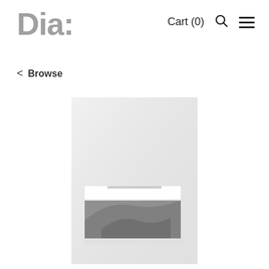Dia: | Cart (0) | Search | Menu
< Browse
[Figure (photo): A book cover with a light gray/white background. In the lower portion of the cover there is a white rectangular band and below it a dark illustration or photograph showing abstract or architectural forms. Below the image area is additional text in a dark decorative font.]